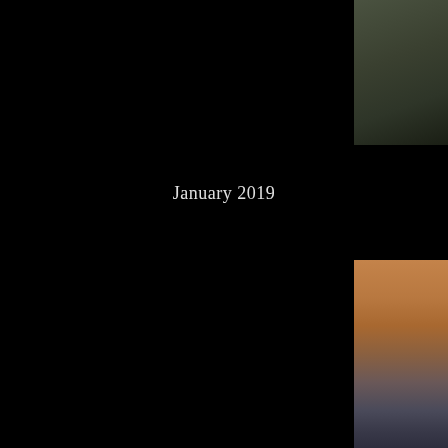[Figure (photo): Top-right corner photo showing dark olive/green tones, appears to be a dark background image fragment]
January 2019
[Figure (photo): Bottom-right photo showing a person's skin/shoulder area in warm brown tones transitioning to dark blue/gray fabric below]